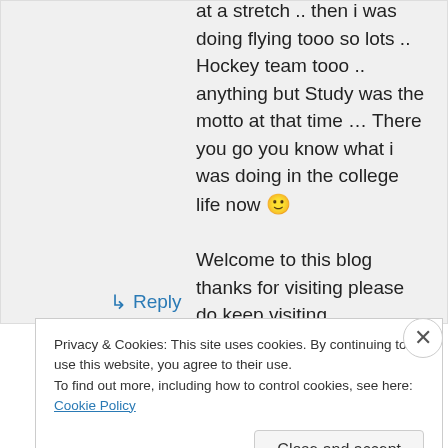at a stretch .. then i was doing flying tooo so lots .. Hockey team tooo .. anything but Study was the motto at that time … There you go you know what i was doing in the college life now 🙂

Welcome to this blog thanks for visiting please do keep visiting
★ Like
↳ Reply
Privacy & Cookies: This site uses cookies. By continuing to use this website, you agree to their use.
To find out more, including how to control cookies, see here: Cookie Policy
Close and accept